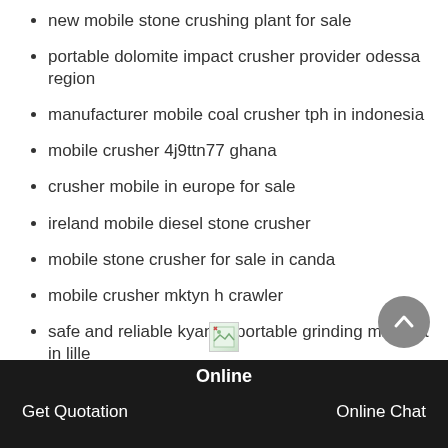new mobile stone crushing plant for sale
portable dolomite impact crusher provider odessa region
manufacturer mobile coal crusher tph in indonesia
mobile crusher 4j9ttn77 ghana
crusher mobile in europe for sale
ireland mobile diesel stone crusher
mobile stone crusher for sale in canda
mobile crusher mktyn h crawler
safe and reliable kyanite portable grinding mill cost in lille
[Figure (illustration): Broken/loading image placeholder icon]
Online | Get Quotation | Online Chat